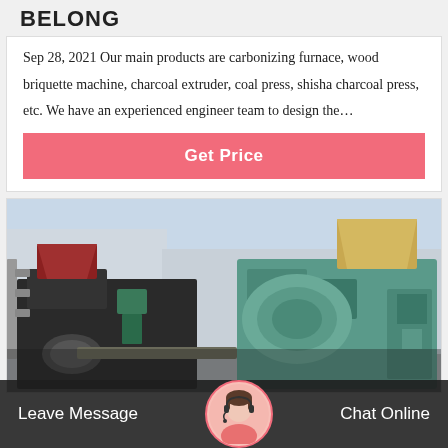BELONG
Sep 28, 2021 Our main products are carbonizing furnace, wood briquette machine, charcoal extruder, coal press, shisha charcoal press, etc. We have an experienced engineer team to design the…
Get Price
[Figure (photo): Industrial machines including coal briquette press machines and charcoal extruders in a factory setting, dark and teal colored heavy machinery]
Leave Message
Chat Online